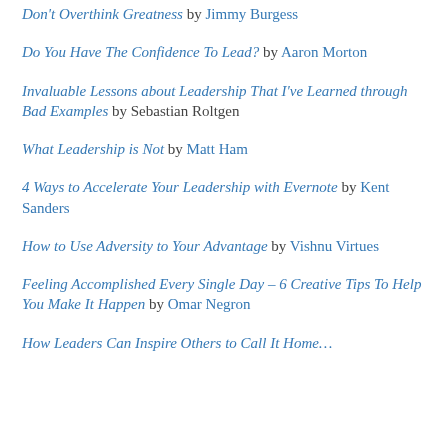Don't Overthink Greatness by Jimmy Burgess
Do You Have The Confidence To Lead? by Aaron Morton
Invaluable Lessons about Leadership That I've Learned through Bad Examples by Sebastian Roltgen
What Leadership is Not by Matt Ham
4 Ways to Accelerate Your Leadership with Evernote by Kent Sanders
How to Use Adversity to Your Advantage by Vishnu Virtues
Feeling Accomplished Every Single Day – 6 Creative Tips To Help You Make It Happen by Omar Negron
How Leaders Can Inspire Others to Call It Home…